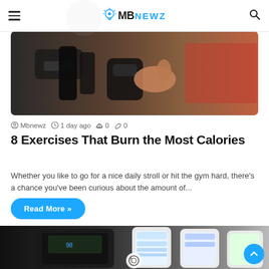MBnewz
[Figure (photo): Person holding black dumbbell weights in a gym setting]
Mbnewz  1 day ago  0  0
8 Exercises That Burn the Most Calories
Whether you like to go for a nice daily stroll or hit the gym hard, there's a chance you've been curious about the amount of...
Read More »
[Figure (photo): Smart scale (dark colored) next to smartphone screens showing health/fitness app data]